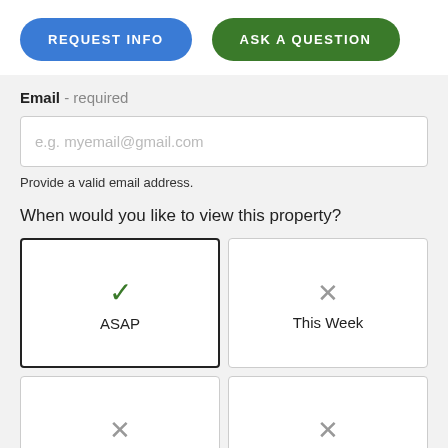[Figure (screenshot): Two buttons: blue 'REQUEST INFO' and green 'ASK A QUESTION']
Email - required
e.g. myemail@gmail.com
Provide a valid email address.
When would you like to view this property?
ASAP (selected with green checkmark)
This Week (gray X)
Next Week (gray X)
Select Day (gray X)